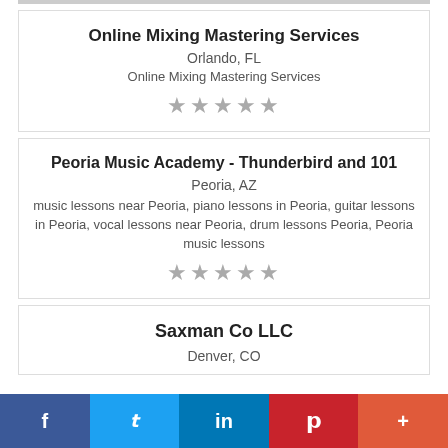Online Mixing Mastering Services
Orlando, FL
Online Mixing Mastering Services
★★★★★
Peoria Music Academy - Thunderbird and 101
Peoria, AZ
music lessons near Peoria, piano lessons in Peoria, guitar lessons in Peoria, vocal lessons near Peoria, drum lessons Peoria, Peoria music lessons
★★★★★
Saxman Co LLC
Denver, CO
f  t  in  p  +